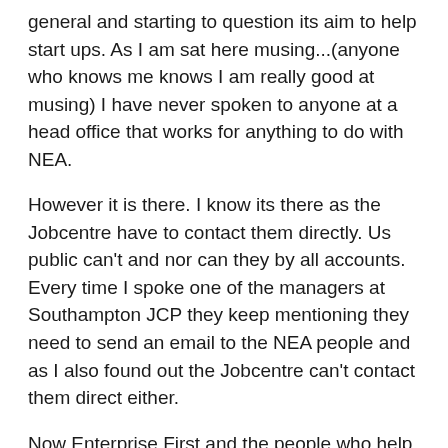general and starting to question its aim to help start ups. As I am sat here musing...(anyone who knows me knows I am really good at musing) I have never spoken to anyone at a head office that works for anything to do with NEA.
However it is there. I know its there as the Jobcentre have to contact them directly. Us public can't and nor can they by all accounts. Every time I spoke one of the managers at Southampton JCP they keep mentioning they need to send an email to the NEA people and as I also found out the Jobcentre can't contact them direct either.
Now Enterprise First and the people who help the startups on the New Enterprise Allowance so I contact them. They told me straight they will not give me a contact number for NEA head office.
So what gives?